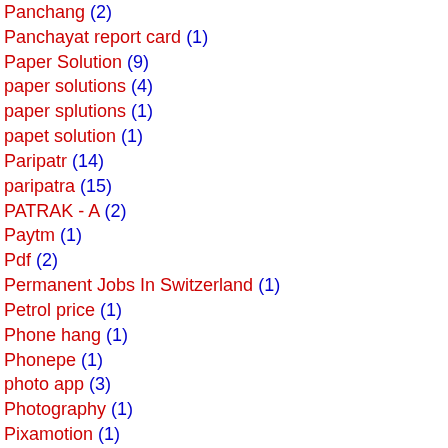Panchang (2)
Panchayat report card (1)
Paper Solution (9)
paper solutions (4)
paper splutions (1)
papet solution (1)
Paripatr (14)
paripatra (15)
PATRAK - A (2)
Paytm (1)
Pdf (2)
Permanent Jobs In Switzerland (1)
Petrol price (1)
Phone hang (1)
Phonepe (1)
photo app (3)
Photography (1)
Pixamotion (1)
PM JAY SCHEME (2)